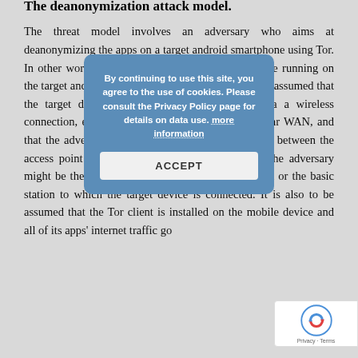The deanonymization attack model.
The threat model involves an adversary who aims at deanonymizing the apps on a target android smartphone using Tor. In other words, they want to identify which apps are running on the target android device at any given time. It is to be assumed that the target device is connected to the internet via a wireless connection, either through a Wi-Fi LAN or a cellular WAN, and that the adversary is capable of capturing the traffic between the access point and the target device. For example, the adversary might be the administrator of the Wi-Fi access point or the basic station to which the target device is connected. It is also to be assumed that the Tor client is installed on the mobile device and all of its apps' internet traffic go
[Figure (screenshot): Cookie consent modal overlay with blue background. Text reads: 'By continuing to use this site, you agree to the use of cookies. Please consult the Privacy Policy page for details on data use. more information' with an ACCEPT button below.]
[Figure (logo): reCAPTCHA badge in bottom right corner with Google reCAPTCHA logo and 'Privacy - Terms' text.]